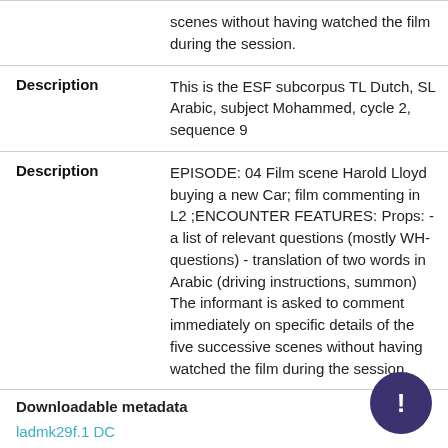| Field | Value |
| --- | --- |
|  | scenes without having watched the film during the session. |
| Description | This is the ESF subcorpus TL Dutch, SL Arabic, subject Mohammed, cycle 2, sequence 9 |
| Description | EPISODE: 04 Film scene Harold Lloyd buying a new Car; film commenting in L2 ;ENCOUNTER FEATURES: Props: - a list of relevant questions (mostly WH-questions) - translation of two words in Arabic (driving instructions, summon) The informant is asked to comment immediately on specific details of the five successive scenes without having watched the film during the session. |
Downloadable metadata
ladmk29f.1 DC
ladmk29f.1 CMD
Detailed Metadata